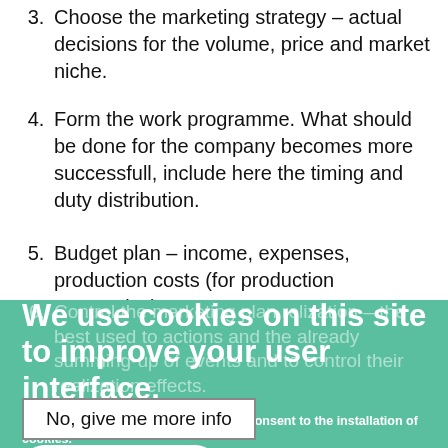3. Choose the marketing strategy – actual decisions for the volume, price and market niche.
4. Form the work programme. What should be done for the company becomes more successfull, include here the timing and duty distribution.
5. Budget plan – income, expenses, production costs (for production companies).
6. Control the marketing plan relization – the best used to actions and the already summing-up of events and to control their realization effects.
We use cookies on this site to improve your user interface.
By clicking any link on this page, you consent to the installation of cookies.
No, give me more info
Ok, I agree
No, thanks